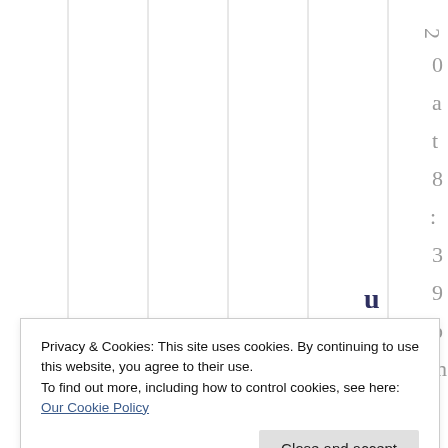[Figure (other): Calendar grid with vertical columns and light gray vertical dividing lines. The right edge shows rotated text '2 0 a t 8 : 3 9 p m' in gray, written vertically. A bold letter 'u' appears near the bottom center-right of the grid area, and a bold letter 'n' appears at the very bottom.]
Privacy & Cookies: This site uses cookies. By continuing to use this website, you agree to their use.
To find out more, including how to control cookies, see here: Our Cookie Policy
Close and accept